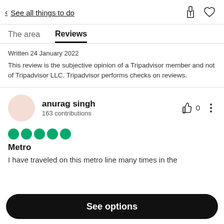< See all things to do
The area   Reviews
Written 24 January 2022
This review is the subjective opinion of a Tripadvisor member and not of Tripadvisor LLC. Tripadvisor performs checks on reviews.
anurag singh
163 contributions
[Figure (other): Five green circle rating dots (full rating)]
Metro
I have traveled on this metro line many times in the
See options